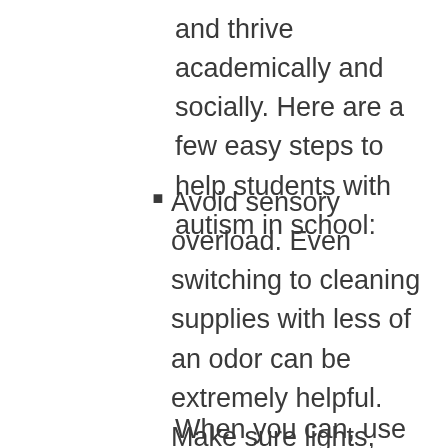and thrive academically and socially. Here are a few easy steps to help students with autism in school:
Avoid sensory overload. Even switching to cleaning supplies with less of an odor can be extremely helpful. Make sure lights, sounds, and smells are not distracting your students who have autism.
When you can, use